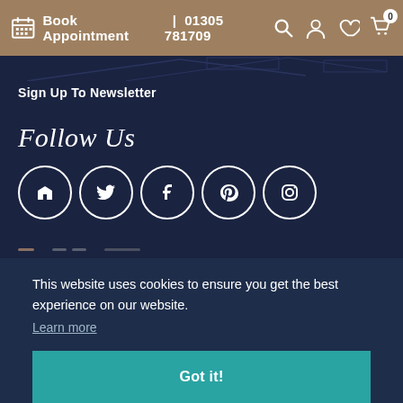Book Appointment | 01305 781709
Sign Up To Newsletter
Follow Us
[Figure (illustration): Row of five social media icon circles: Houzz, Twitter, Facebook, Pinterest, Instagram]
This website uses cookies to ensure you get the best experience on our website. Learn more
Got it!